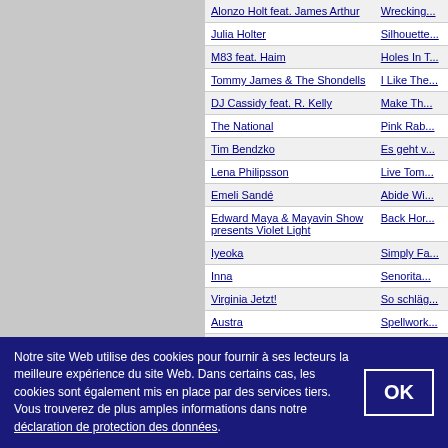| Artist | Song |
| --- | --- |
| Alonzo Holt feat. James Arthur | Wrecking... |
| Julia Holter | Silhouette... |
| M83 feat. Haim | Holes In T... |
| Tommy James & The Shondells | I Like The... |
| DJ Cassidy feat. R. Kelly | Make Th... |
| The National | Pink Rab... |
| Tim Bendzko | Es geht v... |
| Lena Philipsson | Live Tom... |
| Emeli Sandé | Abide Wi... |
| Edward Maya & Mayavin Show presents Violet Light | Back Hor... |
| Iyeoka | Simply Fa... |
| Inna | Senorita... |
| Virginia Jetzt! | So schläg... |
| Austra | Spellwork... |
| Moby Grape | Murder In... |
| Heinz & ... | Nicht mit M... |
Notre site Web utilise des cookies pour fournir à ses lecteurs la meilleure expérience du site Web. Dans certains cas, les cookies sont également mis en place par des services tiers. Vous trouverez de plus amples informations dans notre déclaration de protection des données.